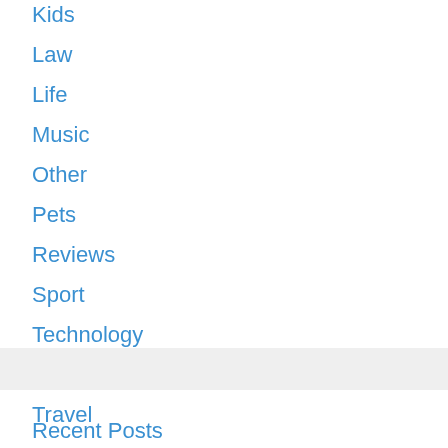Kids
Law
Life
Music
Other
Pets
Reviews
Sport
Technology
Tips
Travel
Recent Posts